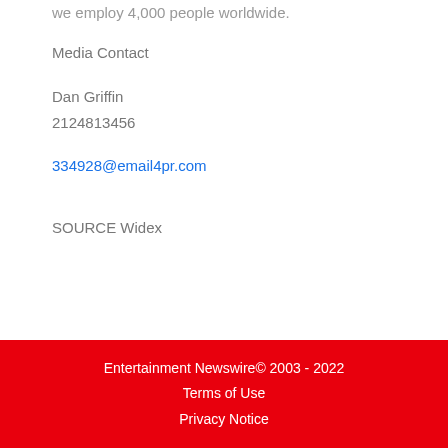we employ 4,000 people worldwide.
Media Contact
Dan Griffin
2124813456
334928@email4pr.com
SOURCE Widex
Entertainment Newswire© 2003 - 2022
Terms of Use
Privacy Notice